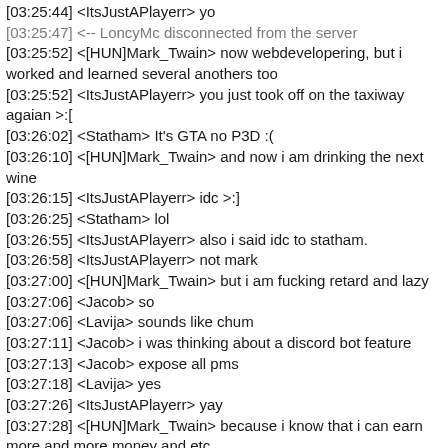[03:25:44] <ItsJustAPlayerr> yo
[03:25:47] <-- LoncyMc disconnected from the server
[03:25:52] <[HUN]Mark_Twain> now webdevelopering, but i worked and learned several anothers too
[03:25:52] <ItsJustAPlayerr> you just took off on the taxiway agaian >:[
[03:26:02] <Statham> It's GTA no P3D :(
[03:26:10] <[HUN]Mark_Twain> and now i am drinking the next wine
[03:26:15] <ItsJustAPlayerr> idc >:]
[03:26:25] <Statham> lol
[03:26:55] <ItsJustAPlayerr> also i said idc to statham.
[03:26:58] <ItsJustAPlayerr> not mark
[03:27:00] <[HUN]Mark_Twain> but i am fucking retard and lazy
[03:27:06] <Jacob> so
[03:27:06] <Lavija> sounds like chum
[03:27:11] <Jacob> i was thinking about a discord bot feature
[03:27:13] <Jacob> expose all pms
[03:27:18] <Lavija> yes
[03:27:26] <ItsJustAPlayerr> yay
[03:27:28] <[HUN]Mark_Twain> because i know that i can earn more and more money and etc
[03:27:34] <[HUN]Mark_Twain> but..
[03:27:46] <[HUN]Mark_Twain> i am fucking my time in here
[03:28:02] <Dumblee> we accept fast
[03:28:12] <[HUN]Mark_Twain> and.. i am fucking happy that i